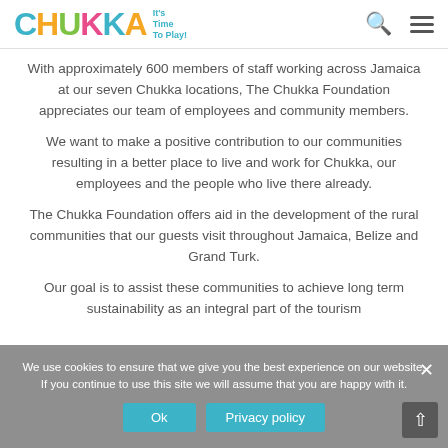CHUKKA It's Time To Play!
With approximately 600 members of staff working across Jamaica at our seven Chukka locations, The Chukka Foundation appreciates our team of employees and community members.
We want to make a positive contribution to our communities resulting in a better place to live and work for Chukka, our employees and the people who live there already.
The Chukka Foundation offers aid in the development of the rural communities that our guests visit throughout Jamaica, Belize and Grand Turk.
Our goal is to assist these communities to achieve long term sustainability as an integral part of the tourism
We use cookies to ensure that we give you the best experience on our website. If you continue to use this site we will assume that you are happy with it.
Ok   Privacy policy